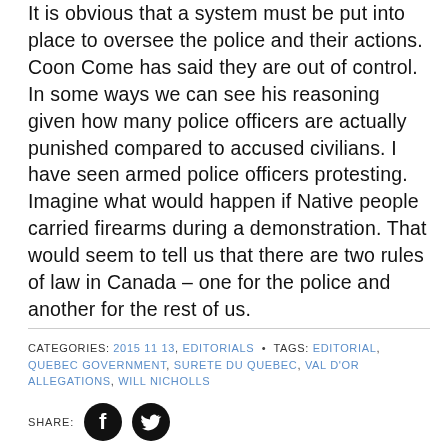It is obvious that a system must be put into place to oversee the police and their actions. Coon Come has said they are out of control. In some ways we can see his reasoning given how many police officers are actually punished compared to accused civilians. I have seen armed police officers protesting. Imagine what would happen if Native people carried firearms during a demonstration. That would seem to tell us that there are two rules of law in Canada – one for the police and another for the rest of us.
CATEGORIES: 2015 11 13, EDITORIALS • TAGS: EDITORIAL, QUEBEC GOVERNMENT, SURETE DU QUEBEC, VAL D'OR ALLEGATIONS, WILL NICHOLLS
[Figure (other): SHARE: Facebook and Twitter social media icon buttons]